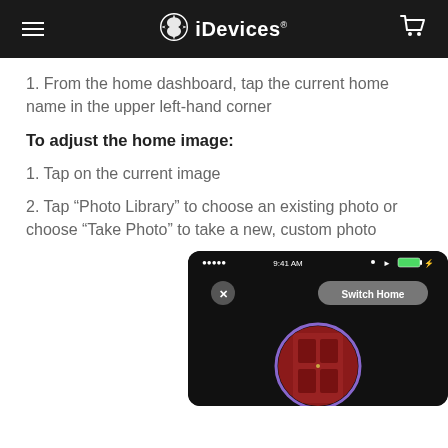iDevices
1. From the home dashboard, tap the current home name in the upper left-hand corner
To adjust the home image:
1. Tap on the current image
2. Tap “Photo Library” to choose an existing photo or choose “Take Photo” to take a new, custom photo
[Figure (screenshot): Mobile app screenshot showing a Switch Home screen with an X button and a circular home photo with a red door, status bar showing 9:41 AM]